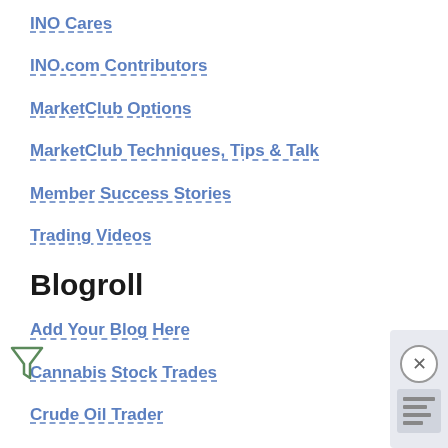INO Cares
INO.com Contributors
MarketClub Options
MarketClub Techniques, Tips & Talk
Member Success Stories
Trading Videos
Blogroll
Add Your Blog Here
Cannabis Stock Trades
Crude Oil Trader
Drift Trader
ETF Daily News
Learn Options Trading
Online Stock Trading Guide
Options Trading Mastery